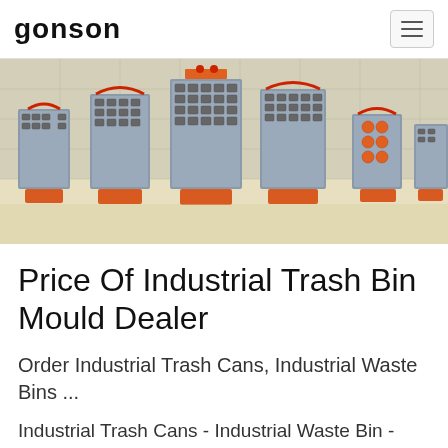GONSON
[Figure (photo): A row of industrial injection molds for trash bins displayed on a factory floor. The molds are metallic grey with orange/red accents and handles, arranged in a line against a tiled white wall background.]
Price Of Industrial Trash Bin Mould Dealer
Order Industrial Trash Cans, Industrial Waste Bins ...
Industrial Trash Cans - Industrial Waste Bin - Garbage Can - outdoor & indoor trash cans, recycle bins, &